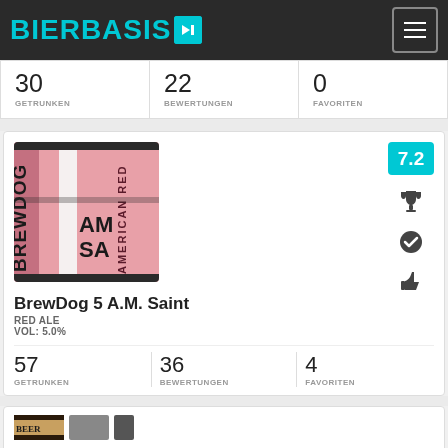BIERBASIS
30 GETRUNKEN  22 BEWERTUNGEN  0 FAVORITEN
[Figure (photo): BrewDog 5 A.M. Saint beer can/label photo showing pink label with BREWDOG and AMERICAN RED text]
7.2
BrewDog 5 A.M. Saint
RED ALE
VOL: 5.0%
57 GETRUNKEN  36 BEWERTUNGEN  4 FAVORITEN
[Figure (photo): Partial view of another beer product at the bottom of the page]